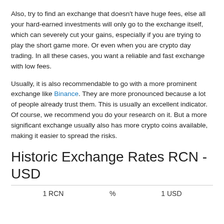Also, try to find an exchange that doesn't have huge fees, else all your hard-earned investments will only go to the exchange itself, which can severely cut your gains, especially if you are trying to play the short game more. Or even when you are crypto day trading. In all these cases, you want a reliable and fast exchange with low fees.
Usually, it is also recommendable to go with a more prominent exchange like Binance. They are more pronounced because a lot of people already trust them. This is usually an excellent indicator. Of course, we recommend you do your research on it. But a more significant exchange usually also has more crypto coins available, making it easier to spread the risks.
Historic Exchange Rates RCN - USD
| 1 RCN | % | 1 USD |
| --- | --- | --- |